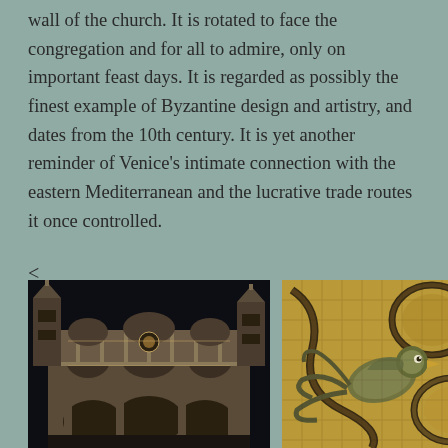wall of the church. It is rotated to face the congregation and for all to admire, only on important feast days. It is regarded as possibly the finest example of Byzantine design and artistry, and dates from the 10th century. It is yet another reminder of Venice's intimate connection with the eastern Mediterranean and the lucrative trade routes it once controlled.
<
[Figure (photo): Nighttime photograph of St. Mark's Basilica facade in Venice, illuminated against a dark sky, showing Gothic architectural details, arches, and towers.]
[Figure (photo): Close-up photograph of a Byzantine mosaic featuring a bird (peacock or similar) amid decorative scrolling vine patterns in gold, black, and earth tones.]